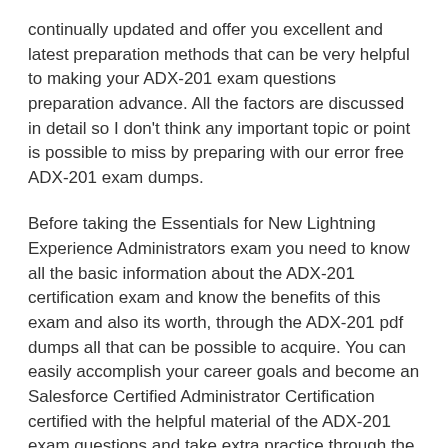continually updated and offer you excellent and latest preparation methods that can be very helpful to making your ADX-201 exam questions preparation advance. All the factors are discussed in detail so I don't think any important topic or point is possible to miss by preparing with our error free ADX-201 exam dumps.
Before taking the Essentials for New Lightning Experience Administrators exam you need to know all the basic information about the ADX-201 certification exam and know the benefits of this exam and also its worth, through the ADX-201 pdf dumps all that can be possible to acquire. You can easily accomplish your career goals and become an Salesforce Certified Administrator Certification certified with the helpful material of the ADX-201 exam questions and take extra practice through the excellent online ADX-201 web-based testing engine.